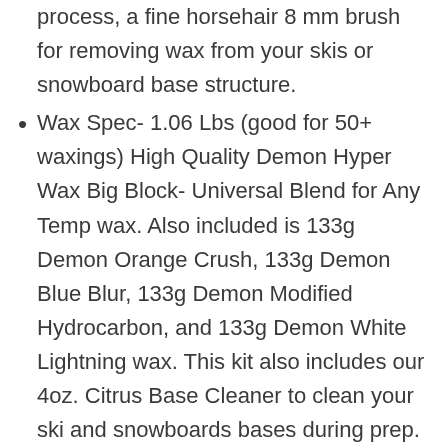process, a fine horsehair 8 mm brush for removing wax from your skis or snowboard base structure.
Wax Spec- 1.06 Lbs (good for 50+ waxings) High Quality Demon Hyper Wax Big Block- Universal Blend for Any Temp wax. Also included is 133g Demon Orange Crush, 133g Demon Blue Blur, 133g Demon Modified Hydrocarbon, and 133g Demon White Lightning wax. This kit also includes our 4oz. Citrus Base Cleaner to clean your ski and snowboards bases during prep. Our waxes are blended, scented and made with our proprietary blends in Southern California.
Also includes 1 Clear P-Tex, 1 Black P-Tex, Two Ski Brake Retainers, Tuning stone, Wax scrapper with edge notch, Polish pad, Tune instruction guide and